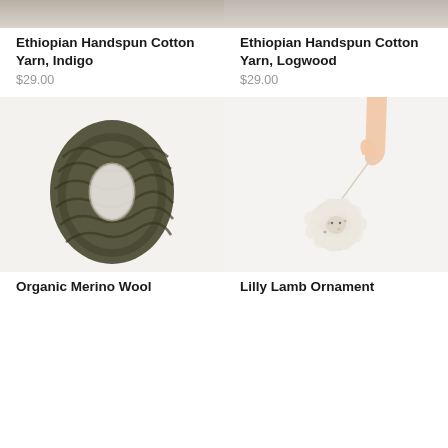[Figure (photo): Top portion of Ethiopian Handspun Cotton Yarn in Indigo color, cropped at top]
Ethiopian Handspun Cotton Yarn, Indigo
$29.00
[Figure (photo): Top portion of Ethiopian Handspun Cotton Yarn in Logwood color, cropped at top]
Ethiopian Handspun Cotton Yarn, Logwood
$29.00
[Figure (photo): Skein of dark olive/green Organic Merino Wool yarn on white background]
Organic Merino Wool
[Figure (photo): Hand holding a small cream/white fluffy Lilly Lamb Ornament by a string against white background]
Lilly Lamb Ornament